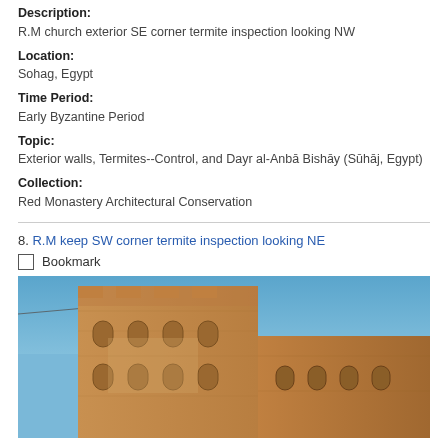Description:
R.M church exterior SE corner termite inspection looking NW
Location:
Sohag, Egypt
Time Period:
Early Byzantine Period
Topic:
Exterior walls, Termites--Control, and Dayr al-Anbā Bishāy (Sūhāj, Egypt)
Collection:
Red Monastery Architectural Conservation
8. R.M keep SW corner termite inspection looking NE
Bookmark
[Figure (photo): Photo of the Red Monastery church exterior, showing a large ancient brick building with arched windows photographed from below looking up, against a blue sky. The building shows multi-storey construction with semi-circular arched niches typical of Byzantine architecture.]